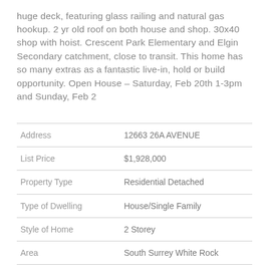huge deck, featuring glass railing and natural gas hookup. 2 yr old roof on both house and shop. 30x40 shop with hoist. Crescent Park Elementary and Elgin Secondary catchment, close to transit. This home has so many extras as a fantastic live-in, hold or build opportunity. Open House - Saturday, Feb 20th 1-3pm and Sunday, Feb 2
|  |  |
| --- | --- |
| Address | 12663 26A AVENUE |
| List Price | $1,928,000 |
| Property Type | Residential Detached |
| Type of Dwelling | House/Single Family |
| Style of Home | 2 Storey |
| Area | South Surrey White Rock |
| Sub-Area | Crescent Bch Ocean Pk. |